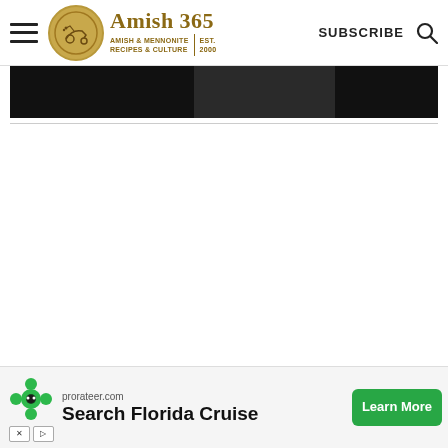Amish 365 — AMISH & MENNONITE RECIPES & CULTURE EST. 2000 | SUBSCRIBE
[Figure (screenshot): Dark banner/image strip partially visible at top of content area]
[Figure (photo): Advertisement banner at bottom: prorateer.com Search Florida Cruise Learn More, with green flower-like logo icon and ad controls]